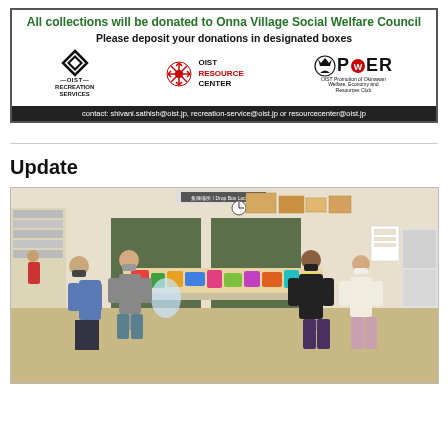[Figure (infographic): Donation drive banner with OIST Recreation Services, OIST Resource Center, and POWER logos. Green header text: 'All collections will be donated to Onna Village Social Welfare Council'. Bold black text: 'Please deposit your donations in designated boxes'. Contact bar: 'contact: shivani.sathish@oist.jp, recreation-service@oist.jp or resourcecenter@oist.jp']
Update
[Figure (photo): Photo of four people wearing masks standing around a table covered with donated food and goods inside an office/community center. Background shows shelving, partitions, and office equipment.]